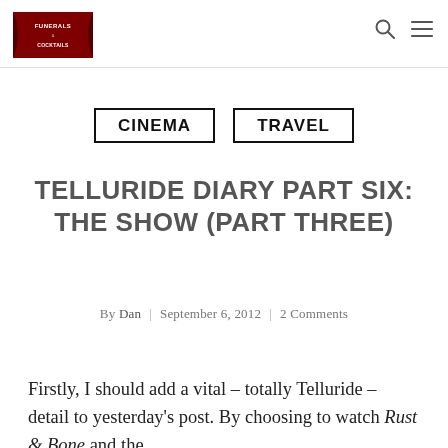Funerals & Cocktails — navigation header with logo, search icon, and menu icon
CINEMA
TRAVEL
TELLURIDE DIARY PART SIX: THE SHOW (PART THREE)
By Dan | September 6, 2012 | 2 Comments
Firstly, I should add a vital – totally Telluride – detail to yesterday's post. By choosing to watch Rust & Bone and the